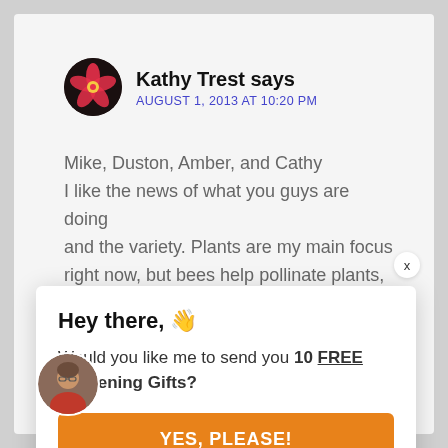Kathy Trest says
AUGUST 1, 2013 AT 10:20 PM
Mike, Duston, Amber, and Cathy
I like the news of what you guys are doing and the variety. Plants are my main focus right now, but bees help pollinate plants,
Hey there, 👋
Would you like me to send you 10 FREE Gardening Gifts?
YES, PLEASE!